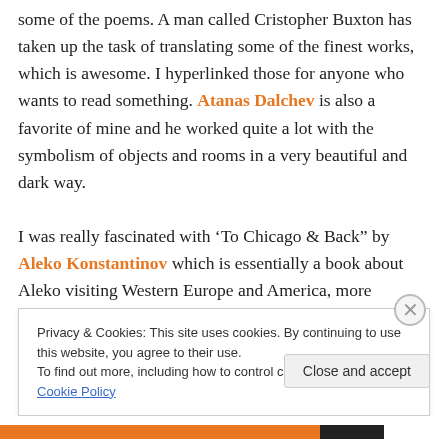some of the poems. A man called Cristopher Buxton has taken up the task of translating some of the finest works, which is awesome. I hyperlinked those for anyone who wants to read something. Atanas Dalchev is also a favorite of mine and he worked quite a lot with the symbolism of objects and rooms in a very beautiful and dark way.
I was really fascinated with ‘To Chicago & Back” by Aleko Konstantinov which is essentially a book about Aleko visiting Western Europe and America, more particularly the
Privacy & Cookies: This site uses cookies. By continuing to use this website, you agree to their use.
To find out more, including how to control cookies, see here: Cookie Policy
Close and accept